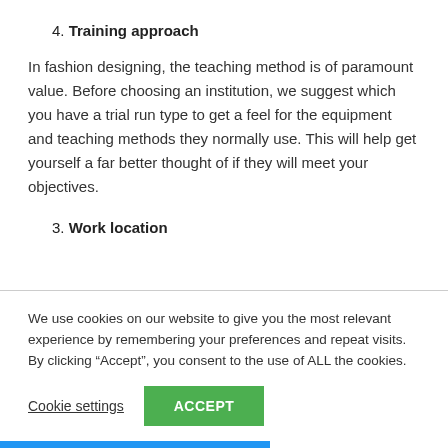4. Training approach
In fashion designing, the teaching method is of paramount value. Before choosing an institution, we suggest which you have a trial run type to get a feel for the equipment and teaching methods they normally use. This will help get yourself a far better thought of if they will meet your objectives.
3. Work location
We use cookies on our website to give you the most relevant experience by remembering your preferences and repeat visits. By clicking “Accept”, you consent to the use of ALL the cookies.